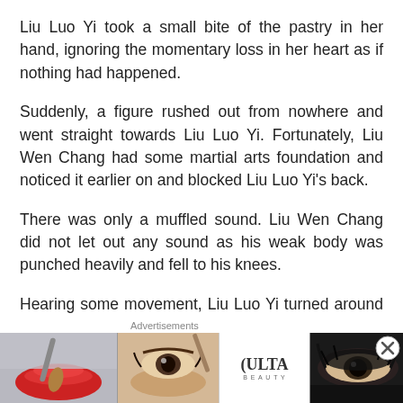Liu Luo Yi took a small bite of the pastry in her hand, ignoring the momentary loss in her heart as if nothing had happened.
Suddenly, a figure rushed out from nowhere and went straight towards Liu Luo Yi. Fortunately, Liu Wen Chang had some martial arts foundation and noticed it earlier on and blocked Liu Luo Yi’s back.
There was only a muffled sound. Liu Wen Chang did not let out any sound as his weak body was punched heavily and fell to his knees.
Hearing some movement, Liu Luo Yi turned around and saw a dark shadow flashed in front of her. Her heart strung up and before she could react, someone wrapped
Advertisements
[Figure (illustration): Advertisement banner for ULTA Beauty showing close-up photos of lips with red lipstick, a makeup brush, an eye with eyeshadow, the ULTA Beauty logo, another eye with dramatic eye makeup, and a SHOP NOW call-to-action button. A close (X) button appears in the top right corner.]